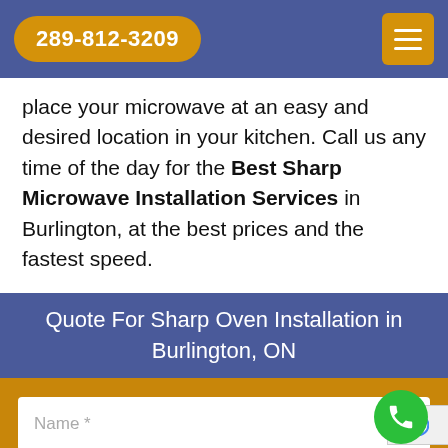289-812-3209
place your microwave at an easy and desired location in your kitchen. Call us any time of the day for the Best Sharp Microwave Installation Services in Burlington, at the best prices and the fastest speed.
Quote For Sharp Oven Installation in Burlington, ON